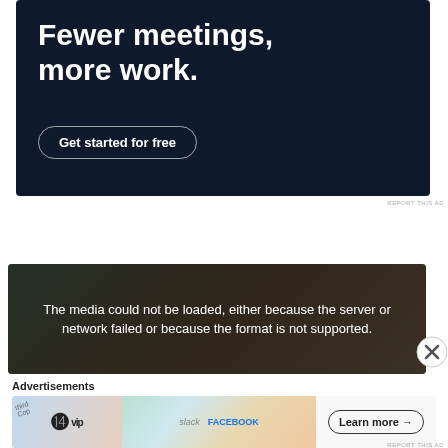[Figure (screenshot): Dark navy blue advertisement banner with bold white text reading 'Fewer meetings, more work.' and a rounded button 'Get started for free']
REPORT THIS AD
[Figure (screenshot): Video player error overlay with dark semi-transparent background showing message: 'The media could not be loaded, either because the server or network failed or because the format is not supported.']
Advertisements
[Figure (screenshot): Bottom advertisement bar with WordPress VIP logo on left, colorful middle section with social media brand cards (Slack, Facebook), and 'Learn more →' button on right]
REPORT THIS AD